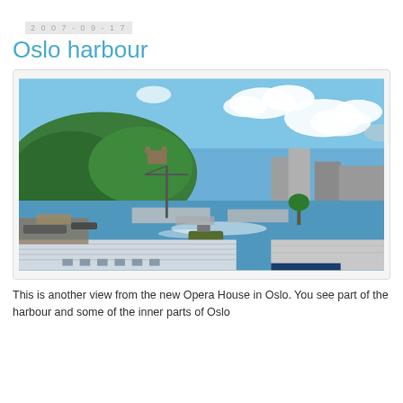2007-09-17
Oslo harbour
[Figure (photo): Aerial view of Oslo harbour from the new Opera House, showing the inner harbour with boats, construction cranes, docks, a tree-covered hill with a castle/fort structure, buildings in the background, and blue sky with white clouds. In the foreground is a large rooftop structure.]
This is another view from the new Opera House in Oslo. You see part of the harbour and some of the inner parts of Oslo